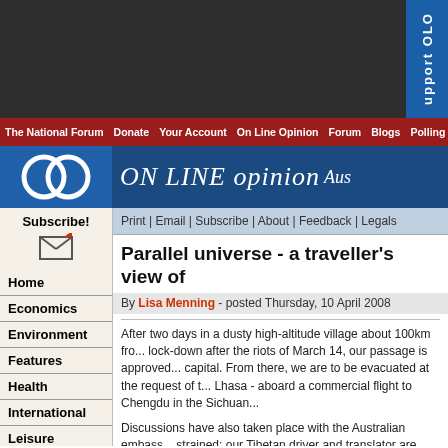[Figure (screenshot): Top dark navigation bar with support tab on right side]
The National Forum | Donate | Your Account | On Line Opinion | Forum | Blogs | Polling
[Figure (logo): ON LINE opinion Australia logo with two overlapping circles on blue background]
Print | Email | Subscribe | About | Feedback | Legals
Parallel universe - a traveller's view of
By Lisa Menning - posted Thursday, 10 April 2008
After two days in a dusty high-altitude village about 100km fro... lock-down after the riots of March 14, our passage is approved... capital. From there, we are to be evacuated at the request of t... Lhasa - aboard a commercial flight to Chengdu in the Sichuan...
Discussions have also taken place with the Australian embass... strained: our Tibetan driver and translator are particularly worr... in the coming days.
Subscribe!
Home
Economics
Environment
Features
Health
International
Leisure
People
Politics
Technology